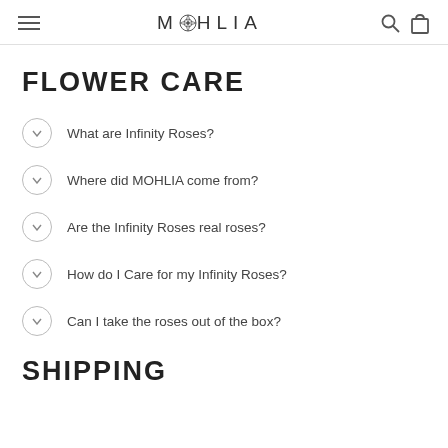MOHLIA
FLOWER CARE
What are Infinity Roses?
Where did MOHLIA come from?
Are the Infinity Roses real roses?
How do I Care for my Infinity Roses?
Can I take the roses out of the box?
SHIPPING